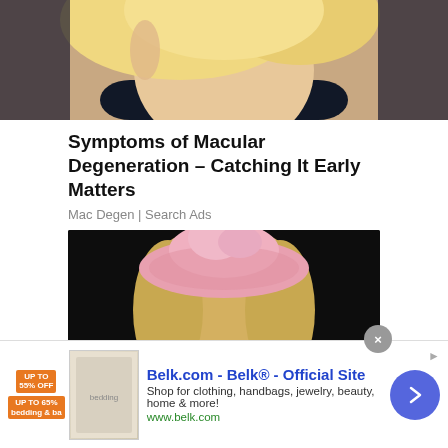[Figure (photo): Partial photo of a woman with blonde hair and dark jacket, cropped at top]
Symptoms of Macular Degeneration – Catching It Early Matters
Mac Degen | Search Ads
[Figure (photo): Portrait photo of a woman wearing a pink beret-style hat against a dark background]
[Figure (infographic): Advertisement banner for Belk.com - Belk® - Official Site. Shop for clothing, handbags, jewelry, beauty, home & more! www.belk.com]